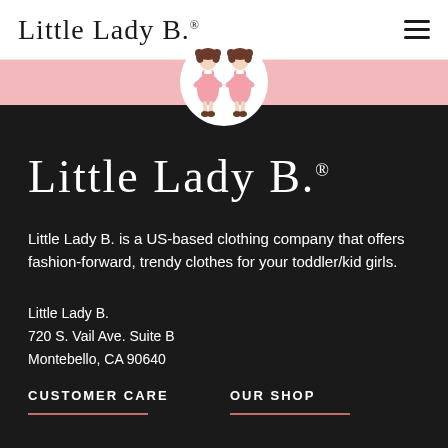Little Lady B.®
[Figure (illustration): Two cartoon toddler girls in pink dresses standing together, inside a white circle, on a pink banner background]
Little Lady B.®
Little Lady B. is a US-based clothing company that offers fashion-forward, trendy clothes for your toddler/kid girls.
Little Lady B.
720 S. Vail Ave. Suite B
Montebello, CA 90640
CUSTOMER CARE
OUR SHOP